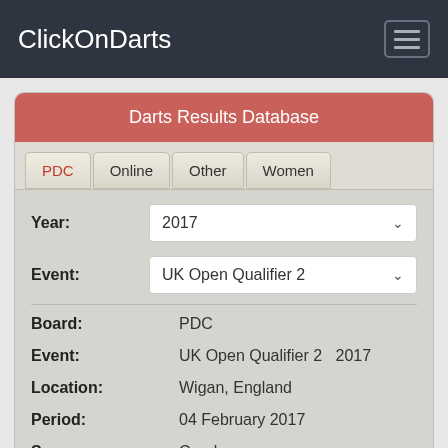ClickOnDarts
Darts Results Database
PDC | Online | Other | Women
Year: 2017
Event: UK Open Qualifier 2
Board: PDC
Event: UK Open Qualifier 2   2017
Location: Wigan, England
Period: 04 February 2017
Sponsor: Coral